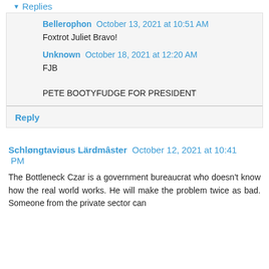↓ Replies
Bellerophon  October 13, 2021 at 10:51 AM
Foxtrot Juliet Bravo!
Unknown  October 18, 2021 at 12:20 AM
FJB
PETE BOOTYFUDGE FOR PRESIDENT
Reply
Schløngtaviøus Lärdmâster  October 12, 2021 at 10:41 PM
The Bottleneck Czar is a government bureaucrat who doesn't know how the real world works. He will make the problem twice as bad. Someone from the private sector can